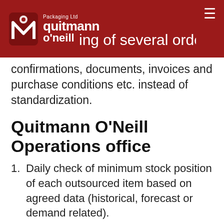Quitmann O'Neill Packaging Ltd
ing of several orders, order confirmations, documents, invoices and purchase conditions etc. instead of standardization.
Quitmann O'Neill Operations office
Daily check of minimum stock position of each outsourced item based on agreed data (historical, forecast or demand related).
Daily contact with suppliers in order to maintain, anticipate and monitor